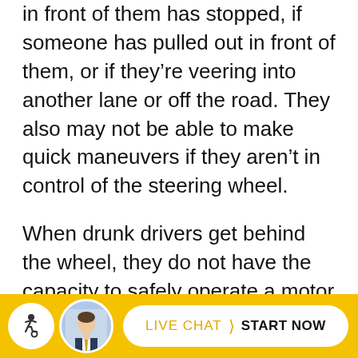in front of them has stopped, if someone has pulled out in front of them, or if they're veering into another lane or off the road. They also may not be able to make quick maneuvers if they aren't in control of the steering wheel.
When drunk drivers get behind the wheel, they do not have the capacity to safely operate a motor vehicle. People may decide to drive while drunk if they do not realize how drunk they are or do not want to leave their car somewhere; however, this does not excuse the reckless and illegal decision to drive while drunk. The ability to make decisions, concentrate, and maintain
[Figure (other): Yellow footer bar with a white circular accessibility icon on the left, a circular photo of a man in a suit (attorney/agent), and a white pill-shaped button reading 'LIVE CHAT > START NOW']